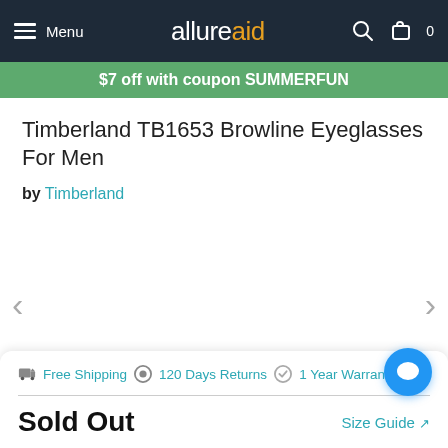Menu | allureaid | [search] [cart 0]
$7 off with coupon SUMMERFUN
Timberland TB1653 Browline Eyeglasses For Men
by Timberland
[Figure (other): Product image carousel area for Timberland TB1653 Browline Eyeglasses, with left and right navigation arrows]
Free Shipping   120 Days Returns   1 Year Warranty
Sold Out
Size Guide